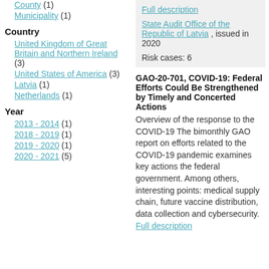County (1)
Municipality (1)
Country
United Kingdom of Great Britain and Northern Ireland (3)
United States of America (3)
Latvia (1)
Netherlands (1)
Year
2013 - 2014 (1)
2018 - 2019 (1)
2019 - 2020 (1)
2020 - 2021 (5)
Full description
State Audit Office of the Republic of Latvia , issued in 2020
Risk cases: 6
GAO-20-701, COVID-19: Federal Efforts Could Be Strengthened by Timely and Concerted Actions
Overview of the response to the COVID-19 The bimonthly GAO report on efforts related to the COVID-19 pandemic examines key actions the federal government. Among others, interesting points: medical supply chain, future vaccine distribution, data collection and cybersecurity.